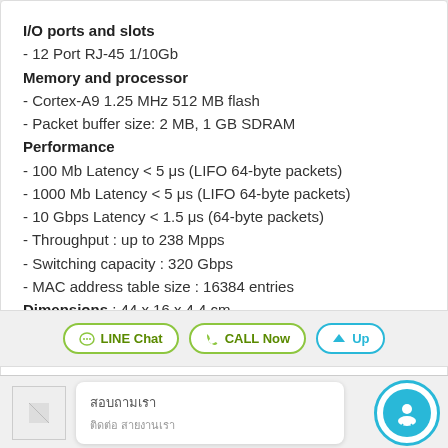I/O ports and slots
- 12 Port RJ-45 1/10Gb
Memory and processor
- Cortex-A9 1.25 MHz 512 MB flash
- Packet buffer size: 2 MB, 1 GB SDRAM
Performance
- 100 Mb Latency < 5 μs (LIFO 64-byte packets)
- 1000 Mb Latency < 5 μs (LIFO 64-byte packets)
- 10 Gbps Latency < 1.5 μs (64-byte packets)
- Throughput : up to 238 Mpps
- Switching capacity : 320 Gbps
- MAC address table size : 16384 entries
Dimensions : 44 x 16 x 4.4 cm
Weight : 3.66 kg
Warranty
- HPE Limited Lifetime warranty
[Figure (screenshot): Bottom bar with LINE Chat, CALL Now, and Up buttons plus a product thumbnail and Thai text popup with circular icon]